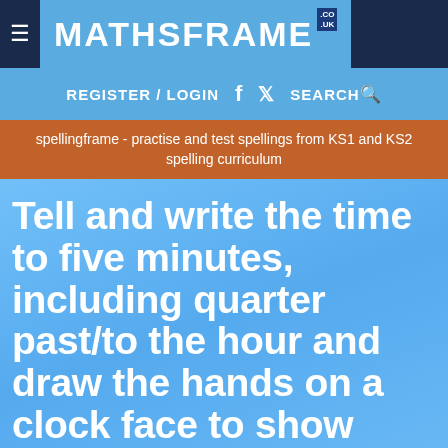MATHSFRAME
REGISTER / LOGIN  SEARCH
spellingframe - practise and test spellings from KS1 and KS2 spelling curriculum
Tell and write the time to five minutes, including quarter past/to the hour and draw the hands on a clock face to show these times